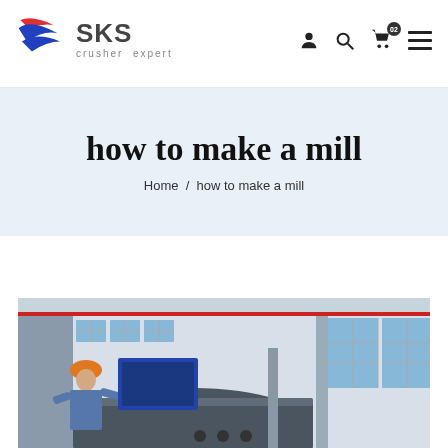[Figure (logo): SKS crusher expert logo with red and blue swoosh/flag icon]
how to make a mill
Home / how to make a mill
[Figure (photo): Industrial factory interior showing a worker in hard hat with large heavy machinery, steel structure, large windows with blue sky visible]